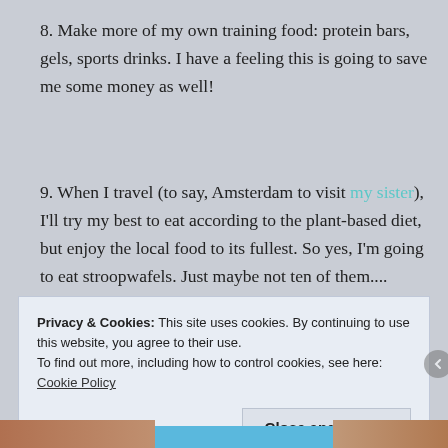8. Make more of my own training food: protein bars, gels, sports drinks. I have a feeling this is going to save me some money as well!
9. When I travel (to say, Amsterdam to visit my sister), I'll try my best to eat according to the plant-based diet, but enjoy the local food to its fullest. So yes, I'm going to eat stroopwafels. Just maybe not ten of them....
Privacy & Cookies: This site uses cookies. By continuing to use this website, you agree to their use.
To find out more, including how to control cookies, see here: Cookie Policy
Close and accept